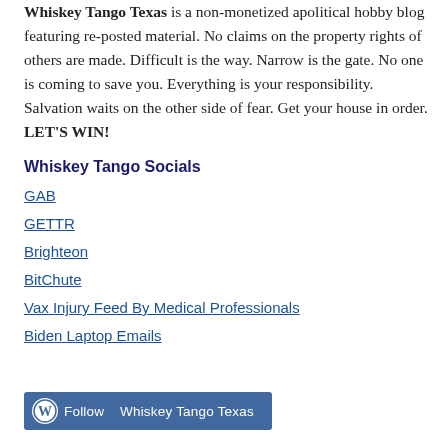Whiskey Tango Texas is a non-monetized apolitical hobby blog featuring re-posted material. No claims on the property rights of others are made. Difficult is the way. Narrow is the gate. No one is coming to save you. Everything is your responsibility. Salvation waits on the other side of fear. Get your house in order. LET'S WIN!
Whiskey Tango Socials
GAB
GETTR
Brighteon
BitChute
Vax Injury Feed By Medical Professionals
Biden Laptop Emails
Follow  Whiskey Tango Texas